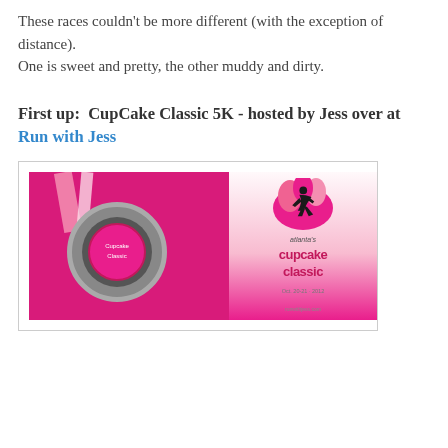These races couldn't be more different (with the exception of distance).
One is sweet and pretty, the other muddy and dirty.
First up:  CupCake Classic 5K - hosted by Jess over at Run with Jess
[Figure (photo): Two images side by side: left shows a pink Cupcake Classic race medal on a pink ribbon against a hot pink background; right shows the Cupcake Classic logo with a silhouette of a running woman in black on a pink cupcake shape, text reads 'cupcake classic' with date and runwithjess.com]